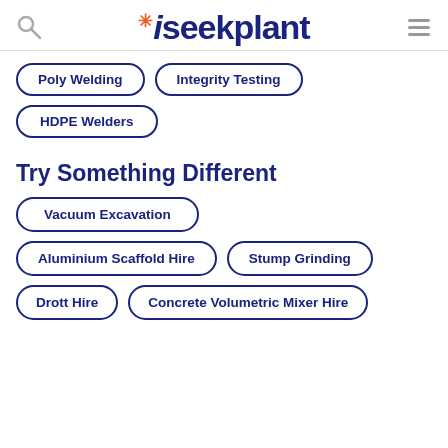iseekplant
Poly Welding
Integrity Testing
HDPE Welders
Try Something Different
Vacuum Excavation
Aluminium Scaffold Hire
Stump Grinding
Drott Hire
Concrete Volumetric Mixer Hire